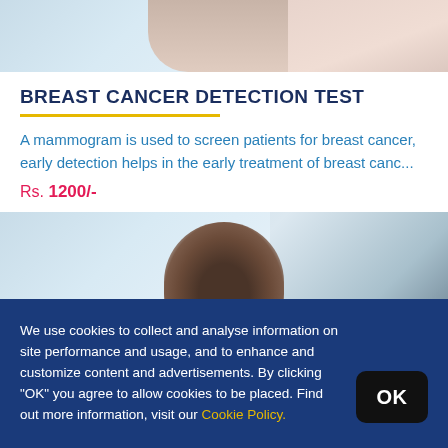[Figure (photo): Top portion of a person raising their arm, light background, partial torso visible]
BREAST CANCER DETECTION TEST
A mammogram is used to screen patients for breast cancer, early detection helps in the early treatment of breast canc...
Rs. 1200/-
[Figure (photo): A doctor or person with curly dark hair visible from top of head, clinical/office background]
We use cookies to collect and analyse information on site performance and usage, and to enhance and customize content and advertisements. By clicking "OK" you agree to allow cookies to be placed. Find out more information, visit our Cookie Policy.